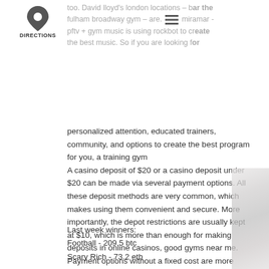[Figure (illustration): Map pin / location icon above the word DIRECTIONS]
too. David lloyd's london locations – bar the fulham broadway gym – are. Drmiramar - pftv + gym music is using rockbot to create the best music. So if you are looking for
personalized attention, educated trainers, community, and options to create the best program for you, a training gym
A casino deposit of $20 or a casino deposit under $20 can be made via several payment options. All these deposit methods are very common, which makes using them convenient and secure. More importantly, the depot restrictions are usually kept at $10, which is more than enough for making deposits in online casinos, good gyms near me. Payment options without a fixed cost are more convenient.
Last week winners:
Football - 209.5 btc
Scary Rich - 73.2 eth